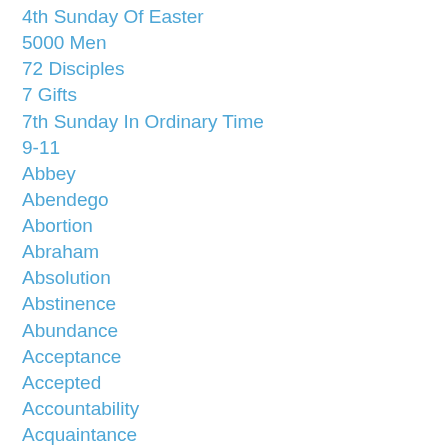4th Sunday Of Easter
5000 Men
72 Disciples
7 Gifts
7th Sunday In Ordinary Time
9-11
Abbey
Abendego
Abortion
Abraham
Absolution
Abstinence
Abundance
Acceptance
Accepted
Accountability
Acquaintance
Act
Action
Actions
Actor